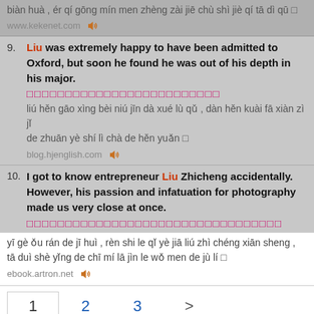biàn huà , ér qí gōng mín men zhèng zài jiē chù shì jiè qí tā dì qū □
www.kekenet.com 🔊
9. Liu was extremely happy to have been admitted to Oxford, but soon he found he was out of his depth in his major.
□□□□□□□□□□□□□□□□□□□□□□□□□
liú hěn gāo xìng bèi niú jīn dà xué lù qǔ , dàn hěn kuài fā xiàn zì jǐ de zhuān yè shí lì chà de hěn yuǎn □
blog.hjenglish.com 🔊
10. I got to know entrepreneur Liu Zhicheng accidentally. However, his passion and infatuation for photography made us very close at once.
□□□□□□□□□□□□□□□□□□□□□□□□□□□□□□□□□
yī gè ǒu rán de jī huì , rèn shi le qǐ yè jiā liú zhì chéng xiān sheng , tā duì shè yǐng de chī mí lā jìn le wǒ men de jù lí □
ebook.artron.net 🔊
1  2  3  >
Privacy   Legal   Advertise   Feedback